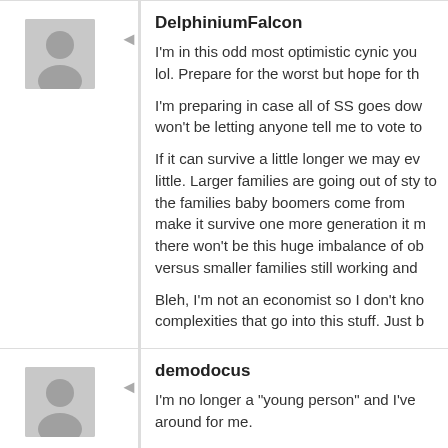DelphiniumFalcon
I'm in this odd most optimistic cynic you lol. Prepare for the worst but hope for th
I'm preparing in case all of SS goes dow won't be letting anyone tell me to vote to
If it can survive a little longer we may ev little. Larger families are going out of sty to the families baby boomers come from make it survive one more generation it m there won't be this huge imbalance of ob versus smaller families still working and
Bleh, I'm not an economist so I don't kno complexities that go into this stuff. Just b
demodocus
I'm no longer a "young person" and I've around for me.